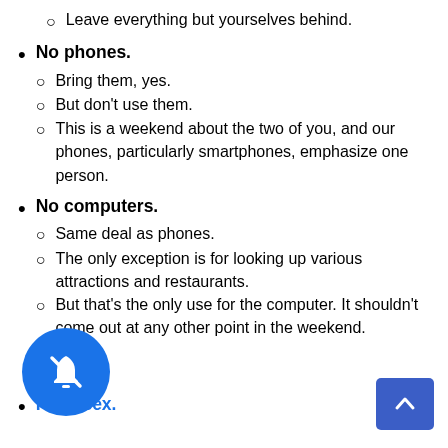Leave everything but yourselves behind.
No phones.
Bring them, yes.
But don’t use them.
This is a weekend about the two of you, and our phones, particularly smartphones, emphasize one person.
No computers.
Same deal as phones.
The only exception is for looking up various attractions and restaurants.
But that’s the only use for the computer. It shouldn’t come out at any other point in the weekend.
Have sex.